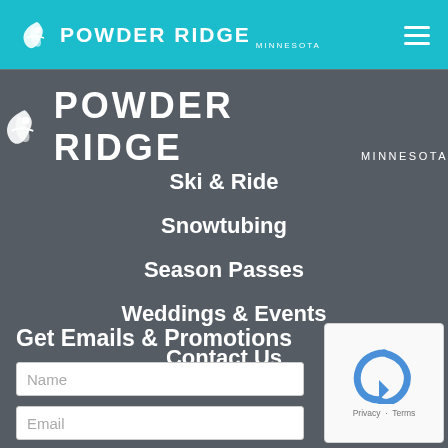POWDER RIDGE MINNESOTA
[Figure (logo): Powder Ridge Minnesota logo centered on dark gray background]
Ski & Ride
Snowtubing
Season Passes
Weddings & Events
Contact Us
Get Emails & Promotions
Name
Email